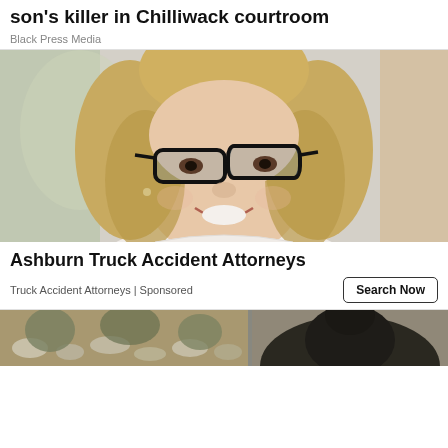son's killer in Chilliwack courtroom
Black Press Media
[Figure (photo): Smiling middle-aged woman with blonde hair and black cat-eye glasses, wearing a white top, against a blurred light background.]
Ashburn Truck Accident Attorneys
Truck Accident Attorneys | Sponsored
[Figure (photo): Partial bottom image showing outdoor ground with stones and plants, and a person partially visible.]